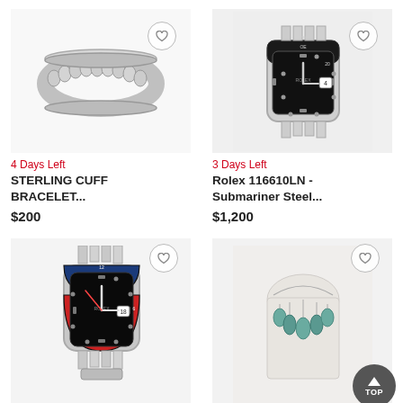[Figure (photo): Sterling silver cuff bracelet with ribbed design on white background]
4 Days Left
STERLING CUFF BRACELET...
$200
[Figure (photo): Rolex Submariner 116610LN black dial stainless steel watch on white background]
3 Days Left
Rolex 116610LN - Submariner Steel...
$1,200
[Figure (photo): Rolex GMT Master II watch with red and blue Pepsi bezel on white background]
[Figure (photo): Turquoise drop necklace with multiple teardrop stones on white display bust]